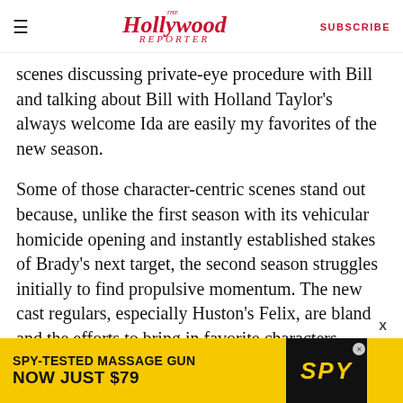The Hollywood Reporter | SUBSCRIBE
scenes discussing private-eye procedure with Bill and talking about Bill with Holland Taylor's always welcome Ida are easily my favorites of the new season.
Some of those character-centric scenes stand out because, unlike the first season with its vehicular homicide opening and instantly established stakes of Brady's next target, the second season struggles initially to find propulsive momentum. The new cast regulars, especially Huston's Felix, are bland and the efforts to bring in favorite characters, including Breeda Wool's Lou, sometimes feel strained. There's
[Figure (other): Advertisement banner: SPY-TESTED MASSAGE GUN NOW JUST $79, black text on yellow background with SPY logo in black box]